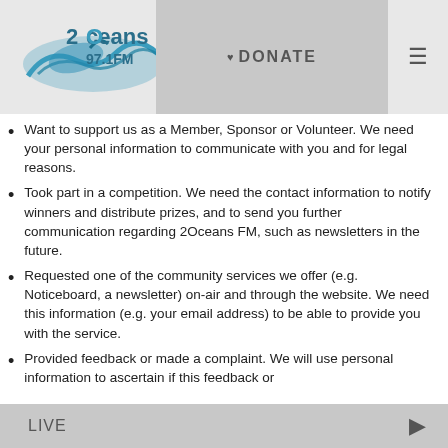2Oceans 97.1FM | DONATE | menu
Want to support us as a Member, Sponsor or Volunteer. We need your personal information to communicate with you and for legal reasons.
Took part in a competition. We need the contact information to notify winners and distribute prizes, and to send you further communication regarding 2Oceans FM, such as newsletters in the future.
Requested one of the community services we offer (e.g. Noticeboard, a newsletter) on-air and through the website. We need this information (e.g. your email address) to be able to provide you with the service.
Provided feedback or made a complaint. We will use personal information to ascertain if this feedback or
LIVE ▶